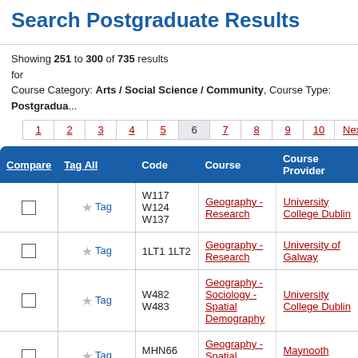Search Postgraduate Results
Showing 251 to 300 of 735 results for Course Category: Arts / Social Science / Community, Course Type: Postgraduate
| Compare | Tag All | Code | Course | Course Provider |
| --- | --- | --- | --- | --- |
| ☐ ★ Tag | W117 W124 W137 | Geography - Research | University College Dublin |
| ☐ ★ Tag | 1LT1 1LT2 | Geography - Research | University of Galway |
| ☐ ★ Tag | W482 W483 | Geography - Sociology - Spatial Demography | University College Dublin |
| ☐ ★ Tag | MHN66 MHN67 | Geography - Spatial Justice | Maynooth University |